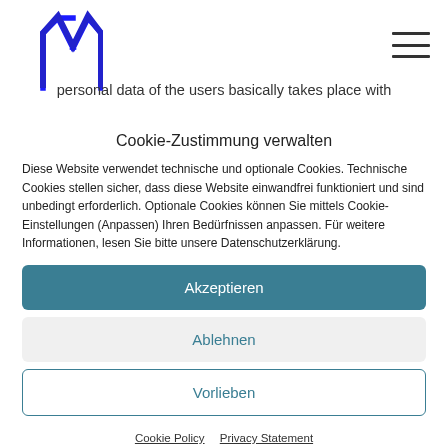[Figure (logo): Blue stylized M logo mark]
personal data of the users basically takes place with
Cookie-Zustimmung verwalten
Diese Website verwendet technische und optionale Cookies. Technische Cookies stellen sicher, dass diese Website einwandfrei funktioniert und sind unbedingt erforderlich. Optionale Cookies können Sie mittels Cookie-Einstellungen (Anpassen) Ihren Bedürfnissen anpassen. Für weitere Informationen, lesen Sie bitte unsere Datenschutzerklärung.
Akzeptieren
Ablehnen
Vorlieben
Cookie Policy   Privacy Statement